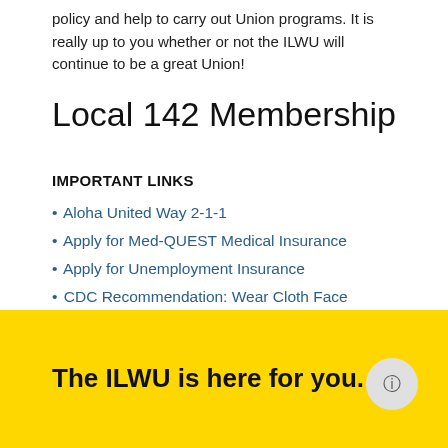policy and help to carry out Union programs. It is really up to you whether or not the ILWU will continue to be a great Union!
Local 142 Membership
IMPORTANT LINKS
Aloha United Way 2-1-1
Apply for Med-QUEST Medical Insurance
Apply for Unemployment Insurance
CDC Recommendation: Wear Cloth Face Coverings
Hawaii State Dept. of Health • Managing COVID-19 in Hawaii
The ILWU is here for you.